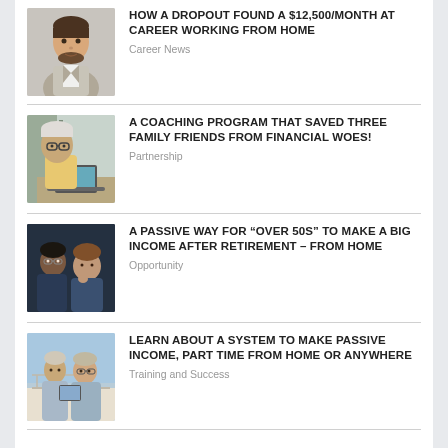[Figure (photo): Man in suit jacket with beard, professional headshot]
HOW A DROPOUT FOUND A $12,500/MONTH AT CAREER WORKING FROM HOME
Career News
[Figure (photo): Older man working on a laptop]
A COACHING PROGRAM THAT SAVED THREE FAMILY FRIENDS FROM FINANCIAL WOES!
Partnership
[Figure (photo): Two people in dark setting looking at camera]
A PASSIVE WAY FOR “OVER 50S” TO MAKE A BIG INCOME AFTER RETIREMENT – FROM HOME
Opportunity
[Figure (photo): Two people on a boat with tablet]
LEARN ABOUT A SYSTEM TO MAKE PASSIVE INCOME, PART TIME FROM HOME OR ANYWHERE
Training and Success